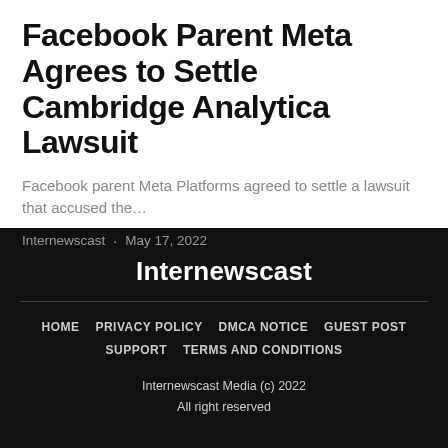Facebook Parent Meta Agrees to Settle Cambridge Analytica Lawsuit
Facebook parent Meta Platforms agreed to settle a lawsuit that accused the…
Internewscast · May 17, 2022
Internewscast
HOME   PRIVACY POLICY   DMCA NOTICE   GUEST POST   SUPPORT   TERMS AND CONDITIONS
Internewscast Media (c) 2022
All right reserved